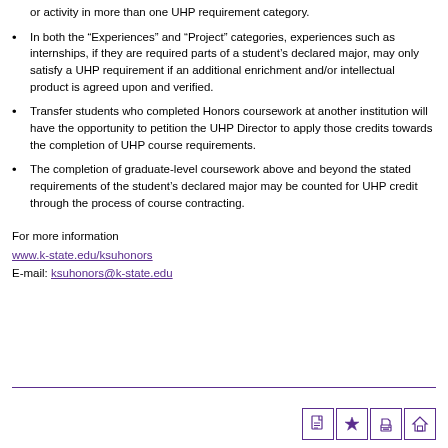or activity in more than one UHP requirement category.
In both the “Experiences” and “Project” categories, experiences such as internships, if they are required parts of a student’s declared major, may only satisfy a UHP requirement if an additional enrichment and/or intellectual product is agreed upon and verified.
Transfer students who completed Honors coursework at another institution will have the opportunity to petition the UHP Director to apply those credits towards the completion of UHP course requirements.
The completion of graduate-level coursework above and beyond the stated requirements of the student’s declared major may be counted for UHP credit through the process of course contracting.
For more information
www.k-state.edu/ksuhonors
E-mail: ksuhonors@k-state.edu
[Figure (infographic): Four small icon buttons in purple: document, star, print, and home/settings icons]